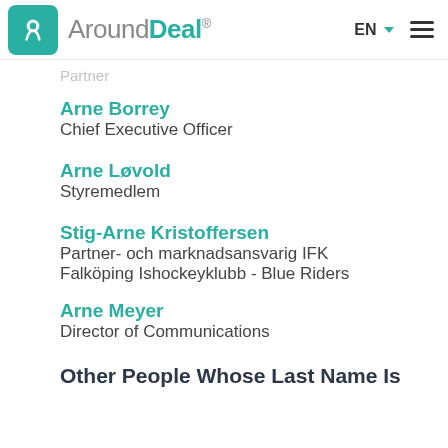AroundDeal® EN
Partner
Arne Borrey
Chief Executive Officer
Arne Løvold
Styremedlem
Stig-Arne Kristoffersen
Partner- och marknadsansvarig IFK Falköping Ishockeyklubb - Blue Riders
Arne Meyer
Director of Communications
Other People Whose Last Name Is